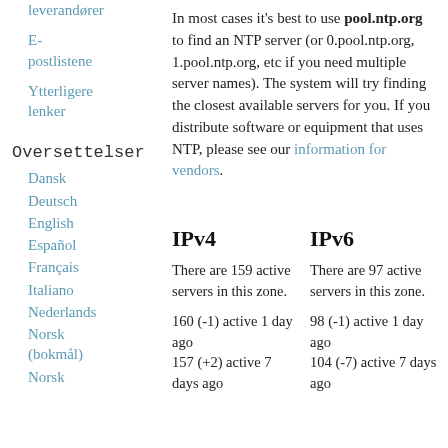leverandører
E-postlistene
Ytterligere lenker
Oversettelser
Dansk
Deutsch
English
Español
Français
Italiano
Nederlands
Norsk (bokmål)
Norsk
In most cases it's best to use pool.ntp.org to find an NTP server (or 0.pool.ntp.org, 1.pool.ntp.org, etc if you need multiple server names). The system will try finding the closest available servers for you. If you distribute software or equipment that uses NTP, please see our information for vendors.
IPv4
IPv6
There are 159 active servers in this zone.
There are 97 active servers in this zone.
160 (-1) active 1 day ago
157 (+2) active 7 days ago
98 (-1) active 1 day ago
104 (-7) active 7 days ago